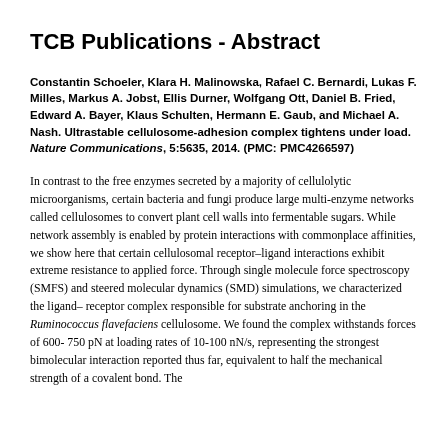TCB Publications - Abstract
Constantin Schoeler, Klara H. Malinowska, Rafael C. Bernardi, Lukas F. Milles, Markus A. Jobst, Ellis Durner, Wolfgang Ott, Daniel B. Fried, Edward A. Bayer, Klaus Schulten, Hermann E. Gaub, and Michael A. Nash. Ultrastable cellulosome-adhesion complex tightens under load. Nature Communications, 5:5635, 2014. (PMC: PMC4266597)
In contrast to the free enzymes secreted by a majority of cellulolytic microorganisms, certain bacteria and fungi produce large multi-enzyme networks called cellulosomes to convert plant cell walls into fermentable sugars. While network assembly is enabled by protein interactions with commonplace affinities, we show here that certain cellulosomal receptor–ligand interactions exhibit extreme resistance to applied force. Through single molecule force spectroscopy (SMFS) and steered molecular dynamics (SMD) simulations, we characterized the ligand–receptor complex responsible for substrate anchoring in the Ruminococcus flavefaciens cellulosome. We found the complex withstands forces of 600- 750 pN at loading rates of 10-100 nN/s, representing the strongest bimolecular interaction reported thus far, equivalent to half the mechanical strength of a covalent bond. The